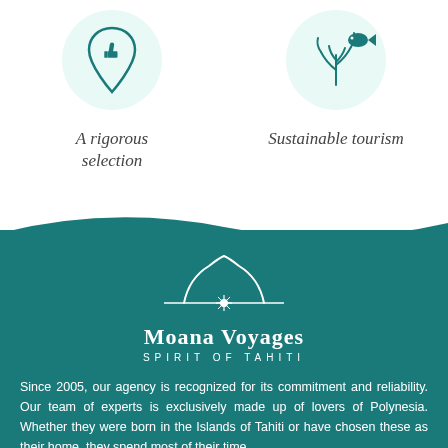[Figure (illustration): Circular light teal icon with a map pin containing a thumbs-up symbol]
[Figure (illustration): Circular light teal icon with a tropical fish and coral/seaweed illustration]
A rigorous selection
Sustainable tourism
[Figure (logo): Moana Voyages logo: white mountain/island silhouette with a flower, horizontal lines, text 'Moana Voyages' and 'SPIRIT OF TAHITI' on teal background]
Since 2005, our agency is recognized for its commitment and reliability. Our team of experts is exclusively made up of lovers of Polynesia. Whether they were born in the Islands of Tahiti or have chosen these as their home, they spend most of their time